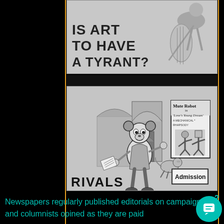[Figure (illustration): Partial image of a newspaper or magazine page showing text 'IS ART TO HAVE A TYRANT?' with a figure playing a cello/instrument on the right side.]
[Figure (illustration): Cartoon illustration labeled 'RIVALS' showing a Mickey Mouse-like cartoon character with sheet music facing a movie poster for 'Mute Robot in Love's Young Dream - A Mechanical Rhapsody'. An 'Admission' sign is visible on the right.]
2
Newspapers regularly published editorials on campaign and columnists opined as they are paid